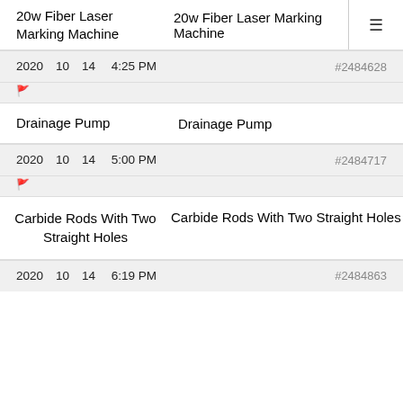20w Fiber Laser Marking Machine | 20w Fiber Laser Marking Machine
2020、10、14】 4:25 PM  #2484628
Drainage Pump | Drainage Pump
2020、10、14】 5:00 PM  #2484717
Carbide Rods With Two Straight Holes | Carbide Rods With Two Straight Holes
2020、10、14】 6:19 PM  #2484863